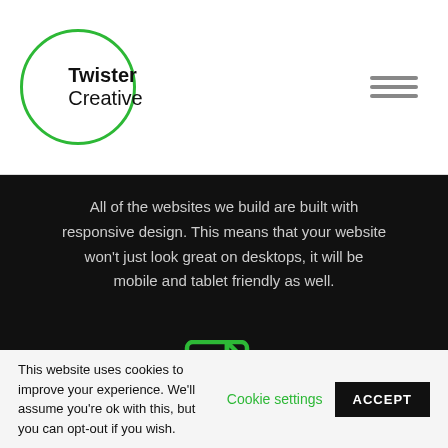Twister Creative
All of the websites we build are built with responsive design. This means that your website won't just look great on desktops, it will be mobile and tablet friendly as well.
[Figure (illustration): Green code/file icon with angle brackets on a dark background]
Tailored
This website uses cookies to improve your experience. We'll assume you're ok with this, but you can opt-out if you wish. Cookie settings ACCEPT